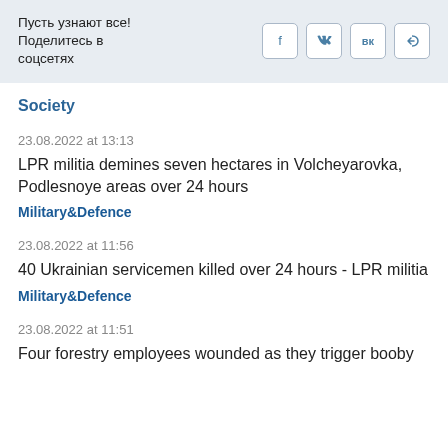Пусть узнают все!
Поделитесь в соцсетях
Society
23.08.2022 at 13:13
LPR militia demines seven hectares in Volcheyarovka, Podlesnoye areas over 24 hours
Military&Defence
23.08.2022 at 11:56
40 Ukrainian servicemen killed over 24 hours - LPR militia
Military&Defence
23.08.2022 at 11:51
Four forestry employees wounded as they trigger booby